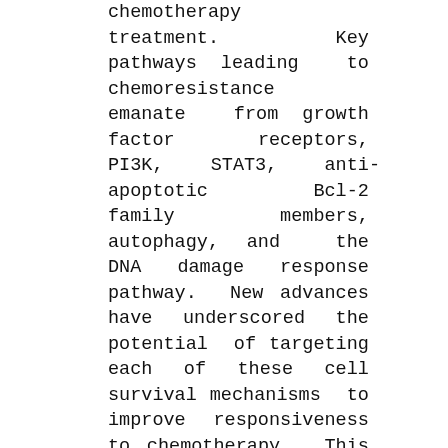chemotherapy treatment. Key pathways leading to chemoresistance emanate from growth factor receptors, PI3K, STAT3, anti-apoptotic Bcl-2 family members, autophagy, and the DNA damage response pathway. New advances have underscored the potential of targeting each of these cell survival mechanisms to improve responsiveness to chemotherapy. This book reviews these recent advances and provides a foundational background and hints of new opportunities for basic, translational, and clinical investigators focused on improving therapeutic responses to chemotherapy. Presents cutting-edge agents and approaches with proved success in different model systems that can be translated to a different type of cancer Brings updated information to be used to propose new clinical trials investigating innovative strategies for